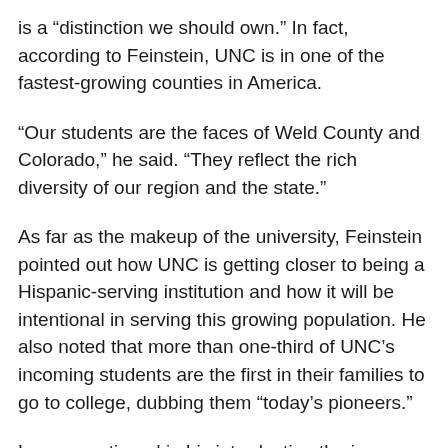is a “distinction we should own.” In fact, according to Feinstein, UNC is in one of the fastest-growing counties in America.
“Our students are the faces of Weld County and Colorado,” he said. “They reflect the rich diversity of our region and the state.”
As far as the makeup of the university, Feinstein pointed out how UNC is getting closer to being a Hispanic-serving institution and how it will be intentional in serving this growing population. He also noted that more than one-third of UNC’s incoming students are the first in their families to go to college, dubbing them “today’s pioneers.”
Luger mentioned in his introduction the issues Feinstein would have to face during his presidency.